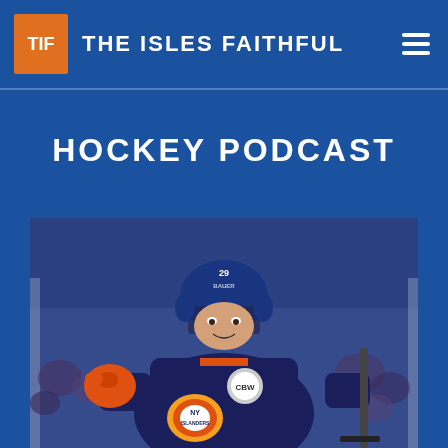[Figure (logo): The Isles Faithful logo: orange square with TIF text in white, followed by site name THE ISLES FAITHFUL in white bold uppercase letters]
HOCKEY PODCAST
[Figure (photo): Hockey player wearing New York Islanders navy blue and orange uniform with CBW patch and NY Islanders logo, pointing with orange glove, holding hockey stick, crowd blurred in background]